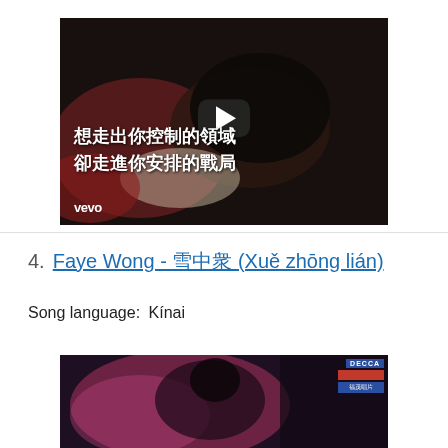[Figure (screenshot): Video thumbnail with Vevo branding showing a person lying down with Chinese text subtitles reading '想走出你控制的領域 卻走進你安排的戰局' and a play button overlay]
4.  Faye Wong - 雪中蓮 (Xuě zhōng lián)
Song language:  Kínai
[Figure (screenshot): Video thumbnail showing a person with pink background lighting and a Decca label badge in the top right corner]